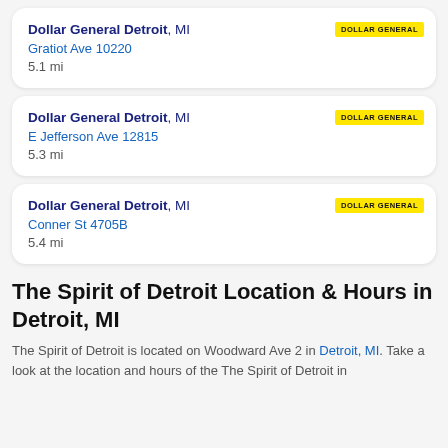Dollar General Detroit, MI
Gratiot Ave 10220
5.1 mi
Dollar General Detroit, MI
E Jefferson Ave 12815
5.3 mi
Dollar General Detroit, MI
Conner St 4705B
5.4 mi
The Spirit of Detroit Location & Hours in Detroit, MI
The Spirit of Detroit is located on Woodward Ave 2 in Detroit, MI. Take a look at the location and hours of the The Spirit of Detroit in